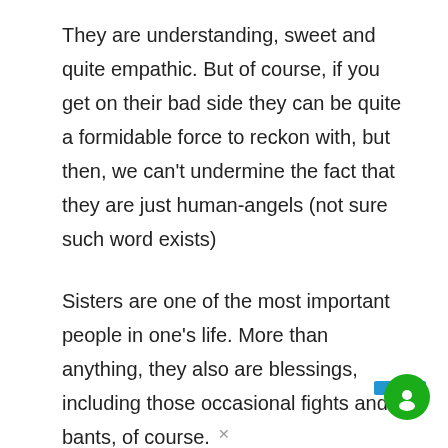They are understanding, sweet and quite empathic. But of course, if you get on their bad side they can be quite a formidable force to reckon with, but then, we can’t undermine the fact that they are just human-angels (not sure such word exists)
Sisters are one of the most important people in one’s life. More than anything, they also are blessings, including those occasional fights and bants, of course.